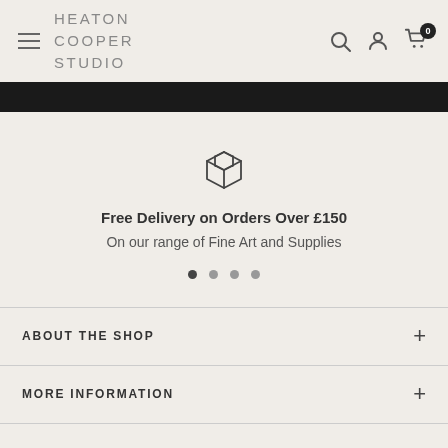HEATON COOPER STUDIO
[Figure (screenshot): Black navigation banner]
[Figure (illustration): Box/package icon for delivery promotion]
Free Delivery on Orders Over £150
On our range of Fine Art and Supplies
ABOUT THE SHOP
MORE INFORMATION